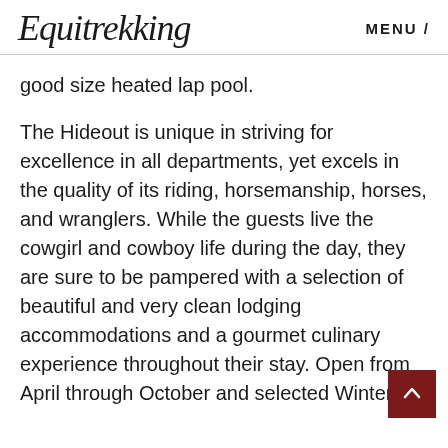Equitrekking  MENU /
good size heated lap pool.
The Hideout is unique in striving for excellence in all departments, yet excels in the quality of its riding, horsemanship, horses, and wranglers. While the guests live the cowgirl and cowboy life during the day, they are sure to be pampered with a selection of beautiful and very clean lodging accommodations and a gourmet culinary experience throughout their stay. Open from April through October and selected Winter